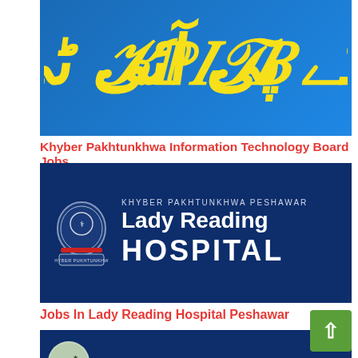[Figure (illustration): Blue background banner with stylized Urdu/Arabic text in yellow color representing a government technology board]
Khyber Pakhtunkhwa Information Technology Board Jobs
[Figure (logo): Lady Reading Hospital Peshawar logo: dark navy blue background with institutional crest on left and white text reading KHYBER PAKHTUNKHWA PESHAWAR, Lady Reading, HOSPITAL]
Jobs In Lady Reading Hospital Peshawar
[Figure (logo): Dark navy blue banner with a circular moon/crescent logo on the left side, partially visible]